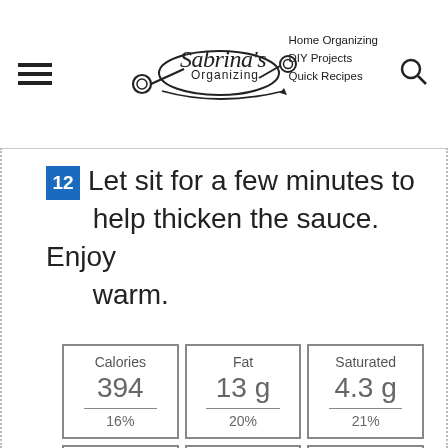Sabrina's Organizing — Home Organizing, DIY Projects, Quick Recipes
12 Let sit for a few minutes to help thicken the sauce. Enjoy warm.
| Calories | Fat | Saturated |
| --- | --- | --- |
| 394 | 13 g | 4.3 g |
| 16% | 20% | 21% |
| Carbs | Protein | Fiber |
| 48 g | 21 g | 3.2 g |